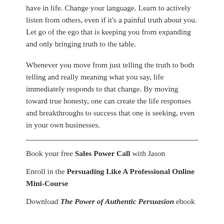have in life. Change your language. Learn to actively listen from others, even if it's a painful truth about you. Let go of the ego that is keeping you from expanding and only bringing truth to the table.
Whenever you move from just telling the truth to both telling and really meaning what you say, life immediately responds to that change. By moving toward true honesty, one can create the life responses and breakthroughs to success that one is seeking, even in your own businesses.
Book your free Sales Power Call with Jason
Enroll in the Persuading Like A Professional Online Mini-Course
Download The Power of Authentic Persuasion ebook